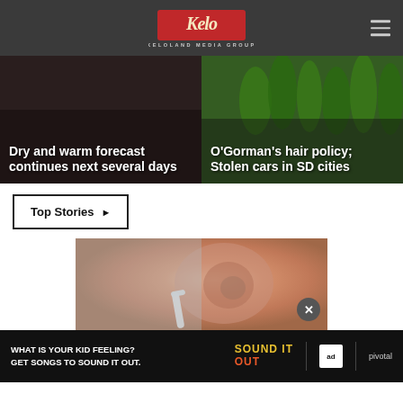KELOLAND Media Group
[Figure (photo): Left news card: dark background with text overlay. Headline: Dry and warm forecast continues next several days]
[Figure (photo): Right news card: green corn field background with text overlay. Headline: O'Gorman's hair policy; Stolen cars in SD cities]
Top Stories ▶
[Figure (photo): Close-up photo of a person's ear with an earbud, with a circular close (x) button overlay]
[Figure (infographic): Ad banner: WHAT IS YOUR KID FEELING? GET SONGS TO SOUND IT OUT. SOUND IT OUT — ad council / pivotal]